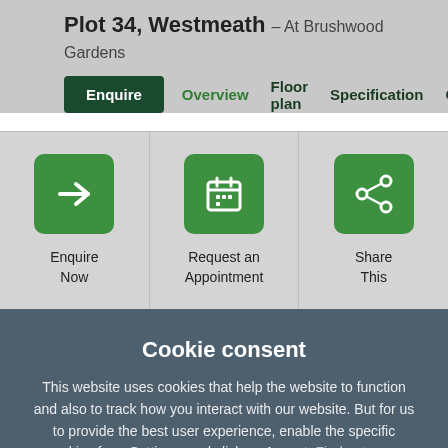Plot 34, Westmeath – At Brushwood Gardens
Enquire  Overview  Floor plan  Specification  Commu...
Enquire Now
Request an Appointment
Share This
Cookie consent
This website uses cookies that help the website to function and also to track how you interact with our website. But for us to provide the best user experience, enable the specific cookies from Settings, and click on Accept. Find out more about our cookie policy.
Preferences
Accept All